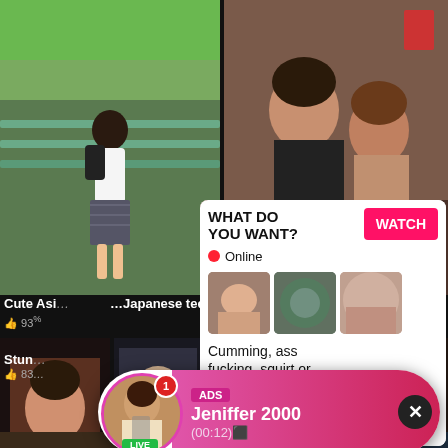[Figure (photo): Video thumbnail: Asian teen from behind on stairs wearing school uniform skirt with backpack]
[Figure (photo): Video thumbnail: Two Asian women in intimate pose, watermark JAPANHDV.CCN]
Cute Asi...
...Japanese teen
Asian lesbian
93%
[Figure (photo): Notification popup ad with avatar photo, ADS tag, name Jeniffer 2000, time (00:12), LIVE badge, close X button]
ADS
Jeniffer 2000
(00:12)⬛
LIVE
[Figure (photo): Video thumbnail of woman]
Stun...
83...
[Figure (infographic): White panel ad: WHAT DO YOU WANT? with WATCH button, Online indicator, three thumbnail images, text: Cumming, ass fucking, squirt or..., ADS label, X close button]